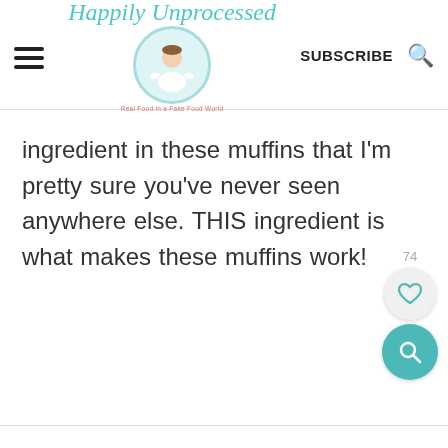Happily Unprocessed — SUBSCRIBE
ingredient in these muffins that I'm pretty sure you've never seen anywhere else. THIS ingredient is what makes these muffins work!